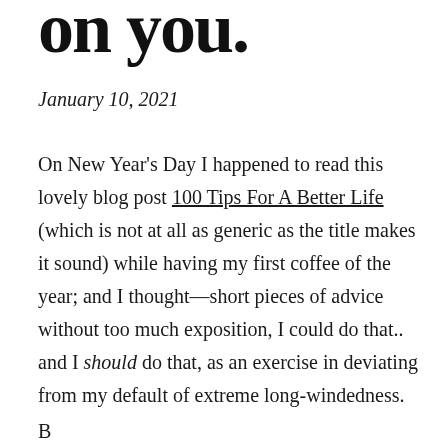on you.
January 10, 2021
On New Year's Day I happened to read this lovely blog post 100 Tips For A Better Life (which is not at all as generic as the title makes it sound) while having my first coffee of the year; and I thought—short pieces of advice without too much exposition, I could do that.. and I should do that, as an exercise in deviating from my default of extreme long-windedness.
B...